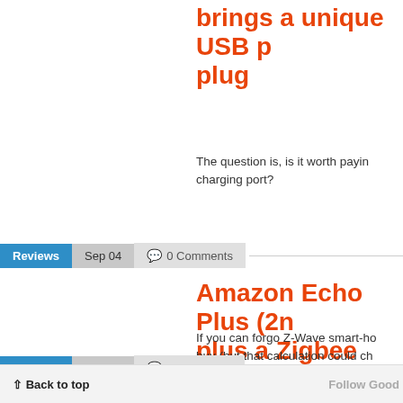brings a unique USB p plug
The question is, is it worth payin charging port?
Reviews  Sep 04  0 Comments
Amazon Echo Plus (2n plus a Zigbee smart-h
If you can forgo Z-Wave smart-ho buy (but that calculation could ch
Reviews  Feb 26  0 Comments
Back to top  Follow Good